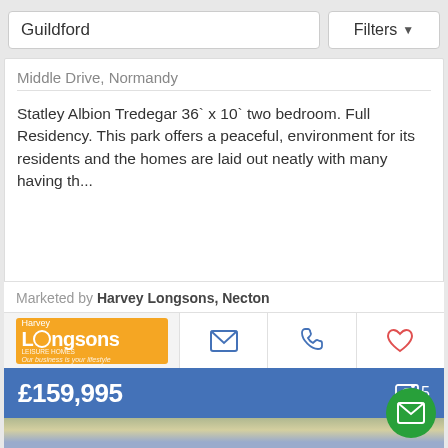Guildford | Filters
Middle Drive, Normandy
Statley Albion Tredegar 36` x 10` two bedroom. Full Residency. This park offers a peaceful, environment for its residents and the homes are laid out neatly with many having th...
Marketed by Harvey Longsons, Necton
[Figure (logo): Harvey Longsons estate agents logo on orange background with tagline 'Our business is your lifestyle']
£159,995
[Figure (photo): Partial view of a house exterior showing roof line and trees in background]